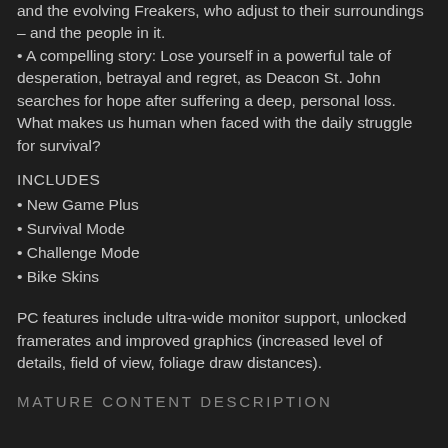and the evolving Freakers, who adjust to their surroundings – and the people in it. • A compelling story: Lose yourself in a powerful tale of desperation, betrayal and regret, as Deacon St. John searches for hope after suffering a deep, personal loss. What makes us human when faced with the daily struggle for survival?
INCLUDES
• New Game Plus
• Survival Mode
• Challenge Mode
• Bike Skins
PC features include ultra-wide monitor support, unlocked framerates and improved graphics (increased level of details, field of view, foliage draw distances).
MATURE CONTENT DESCRIPTION